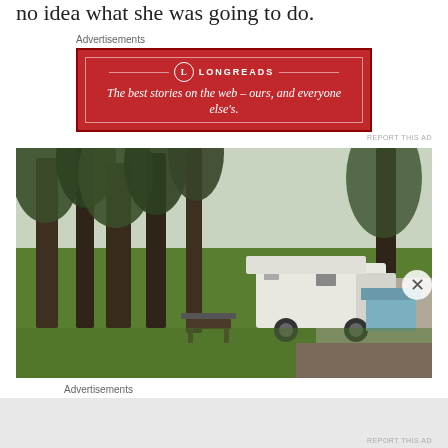no idea what she was going to do.
Advertisements
[Figure (screenshot): Red advertisement banner for Longreads with text: The best stories on the web – ours, and everyone else's.]
[Figure (photo): Outdoor photograph showing a white RV/camper parked among tall moss-covered trees on green grass, with a picnic table nearby and a light blue building visible in the background to the right.]
Advertisements